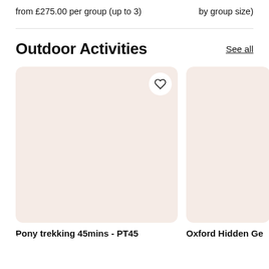from £275.00 per group (up to 3)
by group size)
Outdoor Activities
See all
[Figure (photo): Pony trekking activity card image with heart/favourite button, pinkish-beige placeholder background]
Pony trekking 45mins - PT45
[Figure (photo): Oxford Hidden Ge activity card image, pinkish-beige placeholder background, partially cropped]
Oxford Hidden Ge